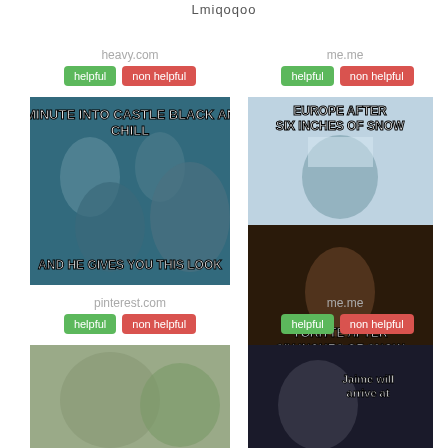Lmiqoqoo
heavy.com
helpful  non helpful
me.me
helpful  non helpful
[Figure (photo): Meme: '2 MINUTE INTO CASTLE BLACK AND CHILL — AND HE GIVES YOU THIS LOOK' featuring Game of Thrones characters]
[Figure (photo): Meme: 'EUROPE AFTER SIX INCHES OF SNOW' (top panel with man covered in snow) and 'YGRITTE AFTER SIX INCHES OF SNOW' (bottom panel with woman). Caption: '6 inches? According to Tormund he's got a small pecker •Sirius Stark•']
6 inches? According to Tormund he's got a small pecker •Sirius Stark•
pinterest.com
helpful  non helpful
me.me
helpful  non helpful
[Figure (photo): Bottom left meme thumbnail — Game of Thrones characters]
[Figure (photo): Bottom right meme thumbnail — 'Jaime will arrive at...' text visible]